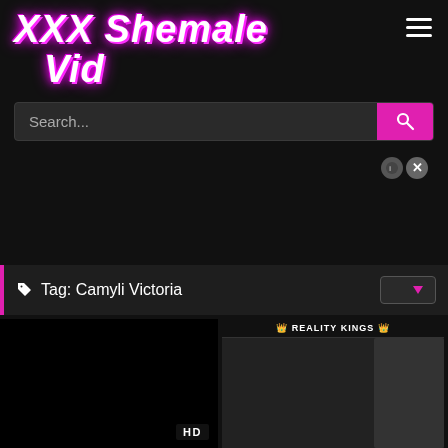XXX Shemale Vid
Search...
[Figure (screenshot): Advertisement area with close/X buttons]
Tag: Camyli Victoria
[Figure (photo): Video thumbnail 1 - dark/black with HD badge]
[Figure (photo): Video thumbnail 2 - Reality Kings branding with female model]